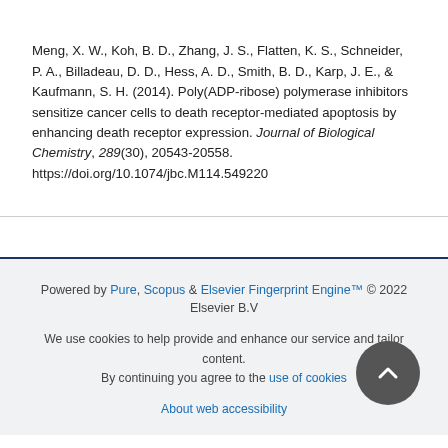Meng, X. W., Koh, B. D., Zhang, J. S., Flatten, K. S., Schneider, P. A., Billadeau, D. D., Hess, A. D., Smith, B. D., Karp, J. E., & Kaufmann, S. H. (2014). Poly(ADP-ribose) polymerase inhibitors sensitize cancer cells to death receptor-mediated apoptosis by enhancing death receptor expression. Journal of Biological Chemistry, 289(30), 20543-20558. https://doi.org/10.1074/jbc.M114.549220
Powered by Pure, Scopus & Elsevier Fingerprint Engine™ © 2022 Elsevier B.V
We use cookies to help provide and enhance our service and tailor content. By continuing you agree to the use of cookies
About web accessibility